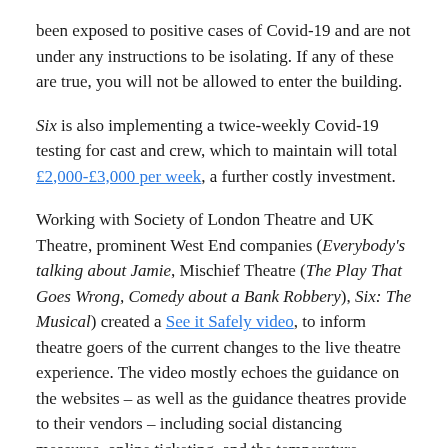been exposed to positive cases of Covid-19 and are not under any instructions to be isolating. If any of these are true, you will not be allowed to enter the building.
Six is also implementing a twice-weekly Covid-19 testing for cast and crew, which to maintain will total £2,000-£3,000 per week, a further costly investment.
Working with Society of London Theatre and UK Theatre, prominent West End companies (Everybody's talking about Jamie, Mischief Theatre (The Play That Goes Wrong, Comedy about a Bank Robbery), Six: The Musical) created a See it Safely video, to inform theatre goers of the current changes to the live theatre experience. The video mostly echoes the guidance on the websites – as well as the guidance theatres provide to their vendors – including social distancing measures, online ticketing, and the temperature checks.